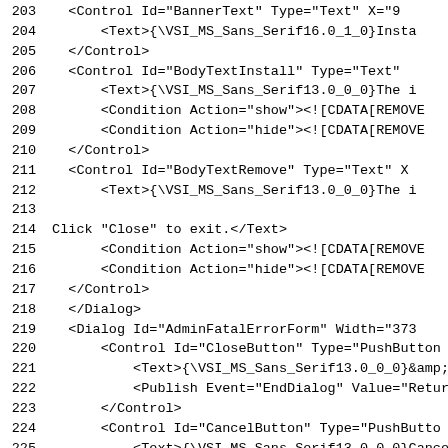203    <Control Id="BannerText" Type="Text" X="9
204        <Text>{\VSI_MS_Sans_Serif16.0_1_0}Insta
205    </Control>
206    <Control Id="BodyTextInstall" Type="Text"
207        <Text>{\VSI_MS_Sans_Serif13.0_0_0}The i
208        <Condition Action="show"><![CDATA[REMOVE
209        <Condition Action="hide"><![CDATA[REMOVE
210    </Control>
211    <Control Id="BodyTextRemove" Type="Text" X
212        <Text>{\VSI_MS_Sans_Serif13.0_0_0}The i
213
214 Click "Close" to exit.</Text>
215        <Condition Action="show"><![CDATA[REMOVE
216        <Condition Action="hide"><![CDATA[REMOVE
217    </Control>
218    </Dialog>
219    <Dialog Id="AdminFatalErrorForm" Width="373
220        <Control Id="CloseButton" Type="PushButton
221            <Text>{\VSI_MS_Sans_Serif13.0_0_0}&amp;C
222            <Publish Event="EndDialog" Value="Retur
223        </Control>
224        <Control Id="CancelButton" Type="PushButto
225            <Text>{\VSI_MS_Sans_Serif13.0_0_0}Cance
226        </Control>
227        <Control Id="PreviousButton" Type="PushBut
228            <Text>{\VSI_MS_Sans_Serif13.0_0_0}&lt; &